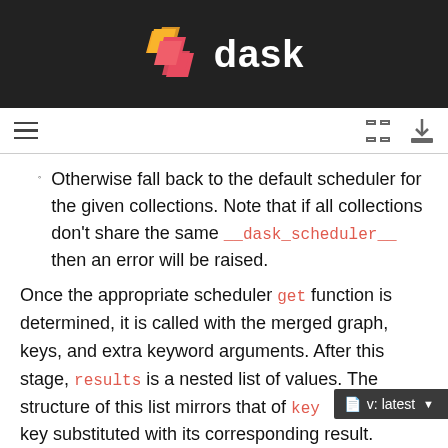dask
Otherwise fall back to the default scheduler for the given collections. Note that if all collections don't share the same __dask_scheduler__ then an error will be raised.
Once the appropriate scheduler get function is determined, it is called with the merged graph, keys, and extra keyword arguments. After this stage, results is a nested list of values. The structure of this list mirrors that of keys with each key substituted with its corresponding result.